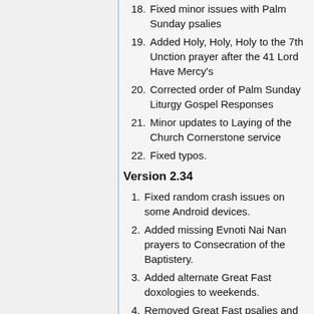18. Fixed minor issues with Palm Sunday psalies
19. Added Holy, Holy, Holy to the 7th Unction prayer after the 41 Lord Have Mercy's
20. Corrected order of Palm Sunday Liturgy Gospel Responses
21. Minor updates to Laying of the Church Cornerstone service
22. Fixed typos.
Version 2.34
1. Fixed random crash issues on some Android devices.
2. Added missing Evnoti Nai Nan prayers to Consecration of the Baptistery.
3. Added alternate Great Fast doxologies to weekends.
4. Removed Great Fast psalies and